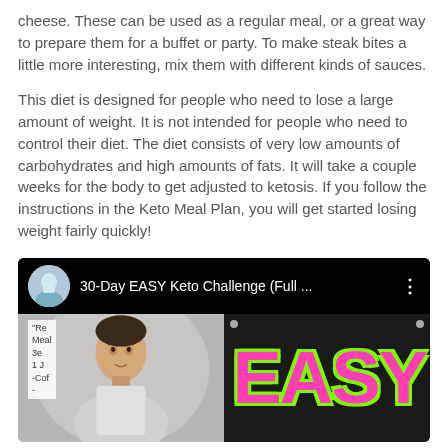cheese. These can be used as a regular meal, or a great way to prepare them for a buffet or party. To make steak bites a little more interesting, mix them with different kinds of sauces.
This diet is designed for people who need to lose a large amount of weight. It is not intended for people who need to control their diet. The diet consists of very low amounts of carbohydrates and high amounts of fats. It will take a couple weeks for the body to get adjusted to ketosis. If you follow the instructions in the Keto Meal Plan, you will get started losing weight fairly quickly!
[Figure (screenshot): YouTube video thumbnail showing '30-Day EASY Keto Challenge (Full ...' with a circular avatar of a man in blue shirt, black background header, and video thumbnail showing a man on the left and large pink 'EASY' text on the right with notes overlay.]